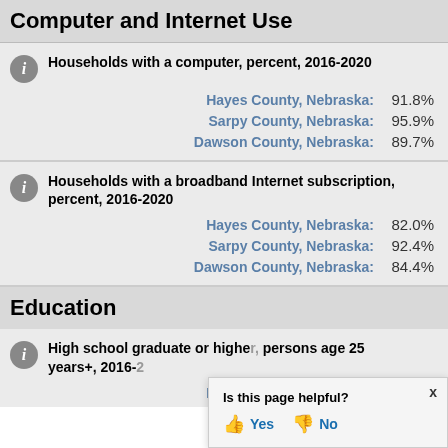Computer and Internet Use
Households with a computer, percent, 2016-2020
Hayes County, Nebraska: 91.8%
Sarpy County, Nebraska: 95.9%
Dawson County, Nebraska: 89.7%
Households with a broadband Internet subscription, percent, 2016-2020
Hayes County, Nebraska: 82.0%
Sarpy County, Nebraska: 92.4%
Dawson County, Nebraska: 84.4%
Education
High school graduate or higher, percent of persons age 25 years+, 2016-2020
Hayes County, Nebraska: [partially visible]
Is this page helpful? Yes / No